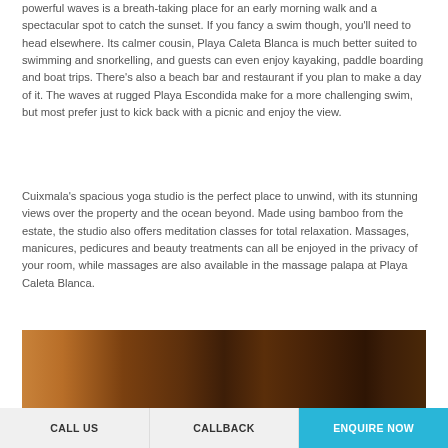powerful waves is a breath-taking place for an early morning walk and a spectacular spot to catch the sunset. If you fancy a swim though, you'll need to head elsewhere. Its calmer cousin, Playa Caleta Blanca is much better suited to swimming and snorkelling, and guests can even enjoy kayaking, paddle boarding and boat trips. There's also a beach bar and restaurant if you plan to make a day of it. The waves at rugged Playa Escondida make for a more challenging swim, but most prefer just to kick back with a picnic and enjoy the view.
Cuixmala's spacious yoga studio is the perfect place to unwind, with its stunning views over the property and the ocean beyond. Made using bamboo from the estate, the studio also offers meditation classes for total relaxation. Massages, manicures, pedicures and beauty treatments can all be enjoyed in the privacy of your room, while massages are also available in the massage palapa at Playa Caleta Blanca.
[Figure (photo): Wooden interior detail showing dark wood grain, warm amber and brown tones, partial view of a room with wooden surfaces.]
CALL US | CALLBACK | ENQUIRE NOW